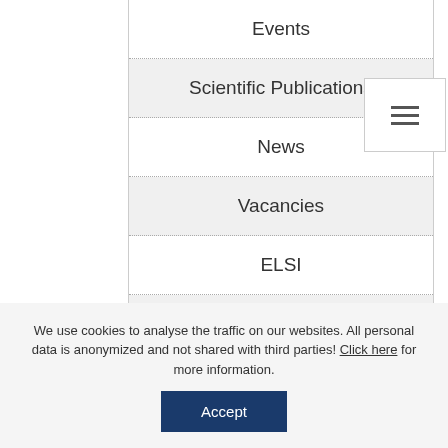Events
Scientific Publications
News
Vacancies
ELSI
Projects
Webinars
Policy
[Figure (other): Hamburger menu icon button with three horizontal lines]
We use cookies to analyse the traffic on our websites. All personal data is anonymized and not shared with third parties! Click here for more information.
Accept